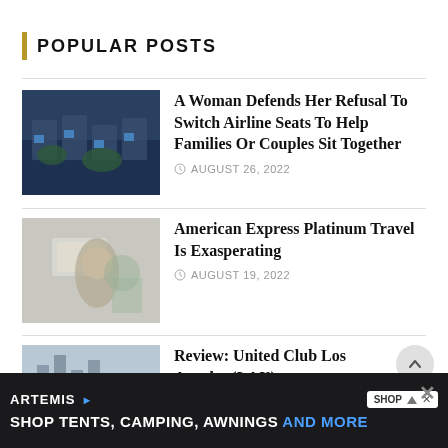POPULAR POSTS
A Woman Defends Her Refusal To Switch Airline Seats To Help Families Or Couples Sit Together — AUGUST 26, 2022
American Express Platinum Travel Is Exasperating — AUGUST 19, 2022
Review: United Club Los Angeles (LAX) — AUGUST 27, 2022
[Figure (infographic): Advertisement banner: ARTEMIS brand, text reading SHOP TENTS, CAMPING, AWNINGS AND MORE]